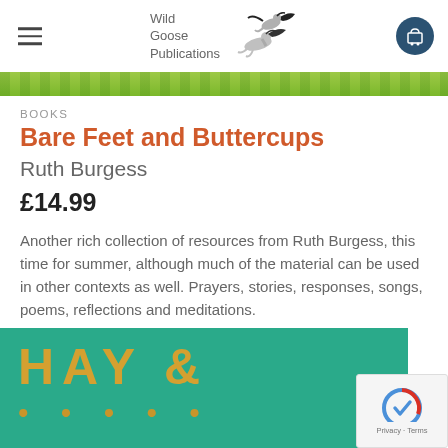Wild Goose Publications
[Figure (illustration): Wild Goose Publications logo with two flying geese illustration]
[Figure (photo): Green foliage banner strip across the top]
BOOKS
Bare Feet and Buttercups
Ruth Burgess
£14.99
Another rich collection of resources from Ruth Burgess, this time for summer, although much of the material can be used in other contexts as well. Prayers, stories, responses, songs, poems, reflections and meditations.
[Figure (photo): Book cover showing teal background with HAY & text in gold/yellow letters]